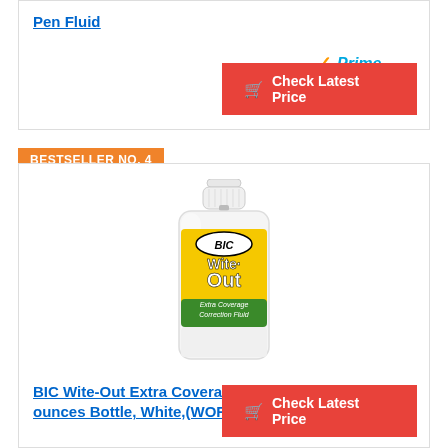Pen Fluid
[Figure (screenshot): Amazon Prime badge with orange checkmark and blue 'Prime' text]
Check Latest Price
BESTSELLER NO. 4
[Figure (photo): BIC Wite-Out Extra Coverage Correction Fluid bottle, small white bottle with yellow-green label]
BIC Wite-Out Extra Coverage Correction Fluid, 0.7 ounces Bottle, White,(WOFEC12WE)
Check Latest Price